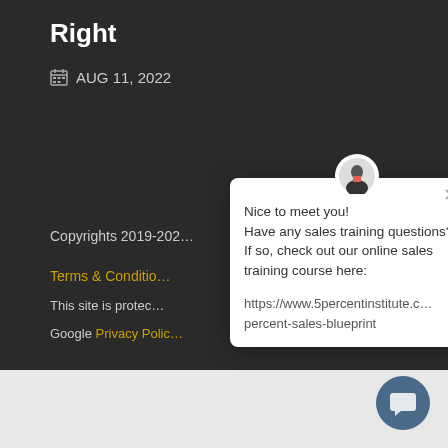Right
AUG 11, 2022
Copyrights 2019-202…
Terms & Conditio…
This site is protec…
Google Privacy Polic…
[Figure (screenshot): Chat popup widget with avatar, close button, greeting message and link to 5percentinstitute sales blueprint course]
[Figure (other): Blue circular chat button in bottom right corner]